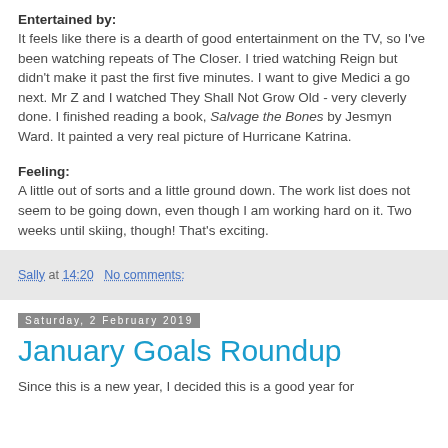Entertained by:
It feels like there is a dearth of good entertainment on the TV, so I've been watching repeats of The Closer. I tried watching Reign but didn't make it past the first five minutes. I want to give Medici a go next. Mr Z and I watched They Shall Not Grow Old - very cleverly done. I finished reading a book, Salvage the Bones by Jesmyn Ward. It painted a very real picture of Hurricane Katrina.
Feeling:
A little out of sorts and a little ground down. The work list does not seem to be going down, even though I am working hard on it. Two weeks until skiing, though! That's exciting.
Sally at 14:20   No comments:
Saturday, 2 February 2019
January Goals Roundup
Since this is a new year, I decided this is a good year for